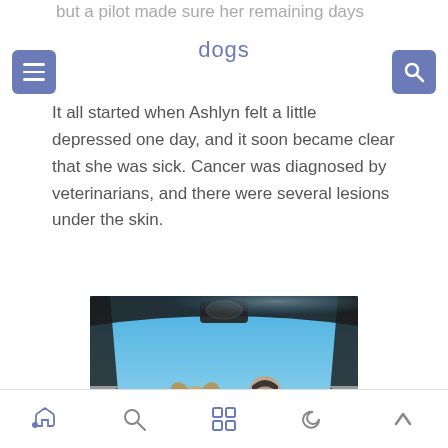but a pilot made sure her remaining days were packed with caring.
dogs
It all started when Ashlyn felt a little depressed one day, and it soon became clear that she was sick. Cancer was diagnosed by veterinarians, and there were several lesions under the skin.
[Figure (photo): A dog sitting in a small aircraft cockpit with a pilot, viewed from inside the plane. The cockpit canopy is visible along with a blue sky and horizon below.]
Navigation bar with home, search, grid, moon, and up-arrow icons